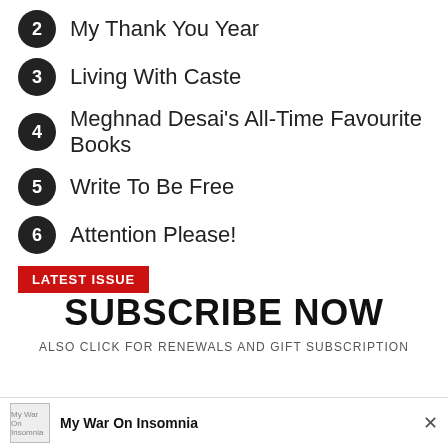2 My Thank You Year
3 Living With Caste
4 Meghnad Desai's All-Time Favourite Books
5 Write To Be Free
6 Attention Please!
LATEST ISSUE
SUBSCRIBE NOW
ALSO CLICK FOR RENEWALS AND GIFT SUBSCRIPTION
My War On Insomnia